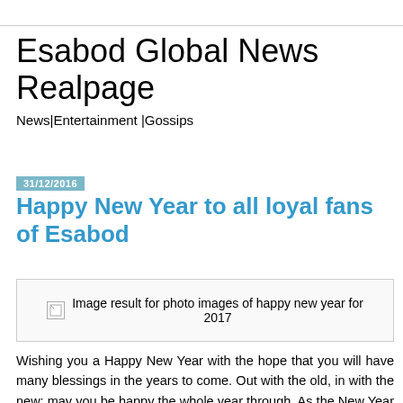Esabod Global News Realpage
News|Entertainment |Gossips
31/12/2016
Happy New Year to all loyal fans of Esabod
[Figure (photo): Image result for photo images of happy new year for 2017]
Wishing you a Happy New Year with the hope that you will have many blessings in the years to come. Out with the old, in with the new: may you be happy the whole year through. As the New Year approaches us with hopes anew, here is to wishing you and your family a wonderful year ahead.